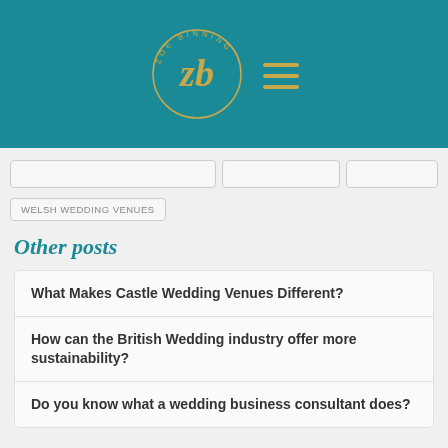[Figure (logo): Zoe Binning logo — circular gold script ZB monogram with 'ZOE BINNING' text around the circle, on teal background, with a gold hamburger menu icon to the right]
WELSH WEDDING VENUES
Other posts
What Makes Castle Wedding Venues Different?
How can the British Wedding industry offer more sustainability?
Do you know what a wedding business consultant does?